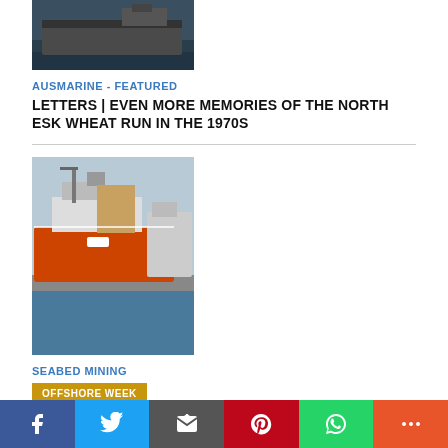[Figure (photo): A dark ship/vessel docked at a port, partial crop showing hull and water.]
AUSMARINE - FEATURED
LETTERS | EVEN MORE MEMORIES OF THE NORTH ESK WHEAT RUN IN THE 1970S
[Figure (photo): An orange offshore supply vessel docked at port, with other ships visible in the background.]
SEABED MINING
OFFSHORE WEEK
VESSEL REVIEW | BENGUELA GEM – DEBMARINE NAMIBIA'S NEWEST VESSEL TO UNDERTAKE SEABED DIAMOND RECOVERY